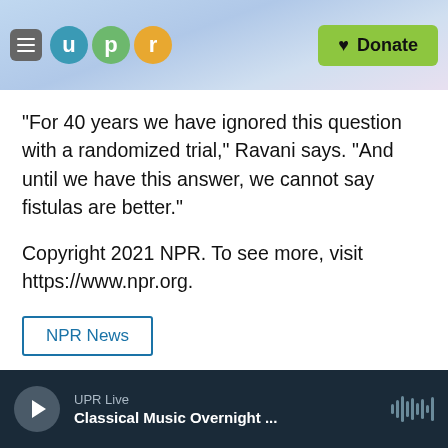[Figure (screenshot): UPR (Utah Public Radio) website header with hamburger menu, UPR logo circles (u, p, r), and green Donate button]
"For 40 years we have ignored this question with a randomized trial," Ravani says. "And until we have this answer, we cannot say fistulas are better."
Copyright 2021 NPR. To see more, visit https://www.npr.org.
NPR News
[Figure (screenshot): Social share buttons: Facebook, Twitter, LinkedIn, and Email icons]
UPR Live  Classical Music Overnight ...